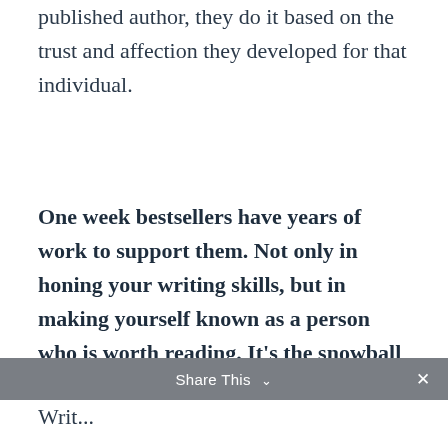published author, they do it based on the trust and affection they developed for that individual.
One week bestsellers have years of work to support them. Not only in honing your writing skills, but in making yourself known as a person who is worth reading. It’s the snowball effect that you should be focused on.
Share This ∨  ×
Writ...